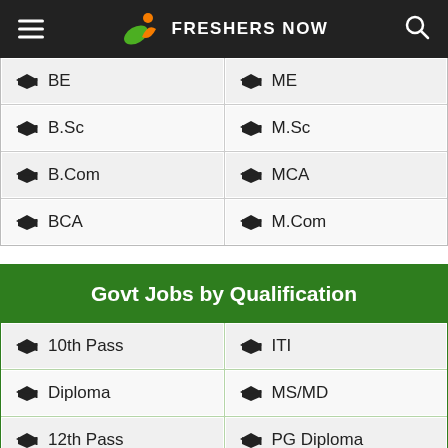FRESHERS NOW
| BE | ME |
| B.Sc | M.Sc |
| B.Com | MCA |
| BCA | M.Com |
Govt Jobs by Qualification
| 10th Pass | ITI |
| Diploma | MS/MD |
| 12th Pass | PG Diploma |
| Engineering | Nursing |